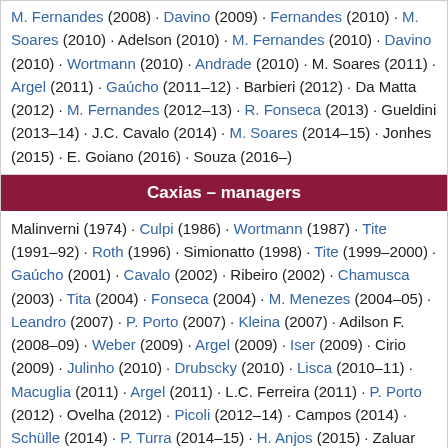M. Fernandes (2008) · Davino (2009) · Fernandes (2010) · M. Soares (2010) · Adelson (2010) · M. Fernandes (2010) · Davino (2010) · Wortmann (2010) · Andrade (2010) · M. Soares (2011) · Argel (2011) · Gaúcho (2011–12) · Barbieri (2012) · Da Matta (2012) · M. Fernandes (2012–13) · R. Fonseca (2013) · Gueldini (2013–14) · J.C. Cavalo (2014) · M. Soares (2014–15) · Jonhes (2015) · E. Goiano (2016) · Souza (2016–)
Caxias – managers
Malinverni (1974) · Culpi (1986) · Wortmann (1987) · Tite (1991–92) · Roth (1996) · Simionatto (1998) · Tite (1999–2000) · Gaúcho (2001) · Cavalo (2002) · Ribeiro (2002) · Chamusca (2003) · Tita (2004) · Fonseca (2004) · M. Menezes (2004–05) · Leandro (2007) · P. Porto (2007) · Kleina (2007) · Adilson F. (2008–09) · Weber (2009) · Argel (2009) · Iser (2009) · Cirio (2009) · Julinho (2010) · Drubscky (2010) · Lisca (2010–11) · Macuglia (2011) · Argel (2011) · L.C. Ferreira (2011) · P. Porto (2012) · Ovelha (2012) · Picoli (2012–14) · Campos (2014) · Schülle (2014) · P. Turra (2014–15) · H. Anjos (2015) · Zaluar (2015) · Vilar (2015) · Campos (2015–)
Goiás – managers
Sani (1974) · P. Emilio (1978) · M. Juliato (1986) · Zé Mario (1987–88) · J. Francisco (1988) · M. Juliato (1988) · Scolari (1988) · R. Oliveira (1989) · Formiga (1990) · Zé Mario (1991–92) ·